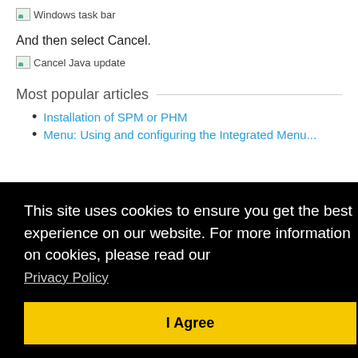[Figure (screenshot): Broken image placeholder with label 'Windows task bar']
And then select Cancel.
[Figure (screenshot): Broken image placeholder with label 'Cancel Java update']
Most popular articles
Installation of SPM or PHM
Menu: Using and configuring the Integrated Menu...
This site uses cookies to ensure you get the best experience on our website. For more information on cookies, please read our Privacy Policy
I Agree